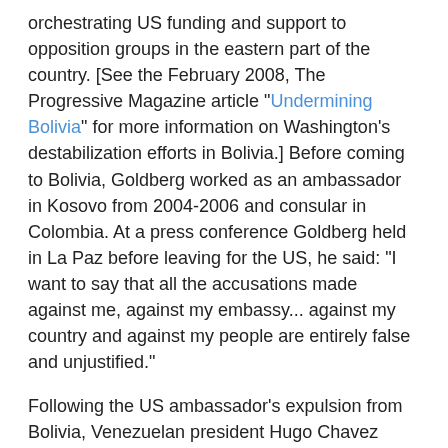orchestrating US funding and support to opposition groups in the eastern part of the country. [See the February 2008, The Progressive Magazine article "Undermining Bolivia" for more information on Washington's destabilization efforts in Bolivia.] Before coming to Bolivia, Goldberg worked as an ambassador in Kosovo from 2004-2006 and consular in Colombia. At a press conference Goldberg held in La Paz before leaving for the US, he said: "I want to say that all the accusations made against me, against my embassy... against my country and against my people are entirely false and unjustified."
Following the US ambassador's expulsion from Bolivia, Venezuelan president Hugo Chavez announced that the US ambassador in his country had to leave: "He has 72 hours, from this moment, the Yankee ambassador in Caracas, to leave Venezuela." The US responded by asking the ambassadors of Venezuela and Bolivia to leave the US. This all took place during a tense few months in US-Latin American relations in which the US Navy re-instated its Fourth Fleet in the Caribbean after decades of inactivity, Chavez announced joint exercises with Russia in the